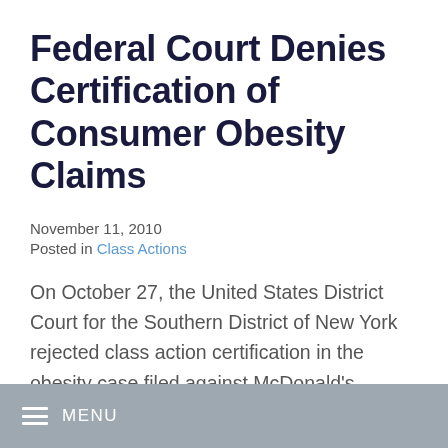Federal Court Denies Certification of Consumer Obesity Claims
November 11, 2010
Posted in Class Actions
On October 27, the United States District Court for the Southern District of New York  rejected class action certification in the obesity case filed against McDonald’s Corporation in 2002. Pelman v. McDonald’s Corp., 2010 U.S. Dist.
MENU